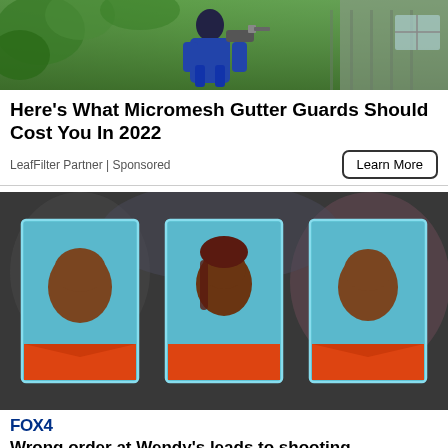[Figure (photo): Advertisement photo showing a worker in blue jacket using a drill or power tool on a house gutter, surrounded by green foliage]
Here's What Micromesh Gutter Guards Should Cost You In 2022
LeafFilter Partner | Sponsored
Learn More
[Figure (photo): News article photo showing three mugshot photos of individuals in orange jail uniforms against blue backgrounds]
FOX 4
Wrong order at Wendy's leads to shooting